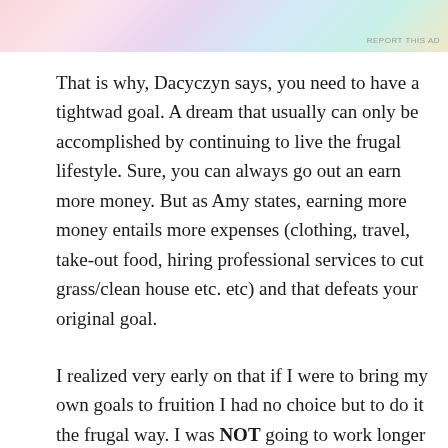[Figure (photo): Partial view of a colorful advertisement banner at the top of the page with pastel colors]
That is why, Dacyczyn says, you need to have a tightwad goal. A dream that usually can only be accomplished by continuing to live the frugal lifestyle. Sure, you can always go out an earn more money. But as Amy states, earning more money entails more expenses (clothing, travel, take-out food, hiring professional services to cut grass/clean house etc. etc) and that defeats your original goal.
I realized very early on that if I were to bring my own goals to fruition I had no choice but to do it the frugal way. I was NOT going to work longer or harder to accomplish my dreams which were to winter in Florida for three months, summer in Newport RI for two